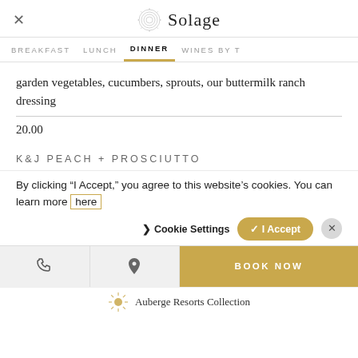Solage
BREAKFAST   LUNCH   DINNER   WINES BY T
garden vegetables, cucumbers, sprouts, our buttermilk ranch dressing
20.00
K&J PEACH + PROSCIUTTO
By clicking “I Accept,” you agree to this website’s cookies. You can learn more here
❯ Cookie Settings   ✓ I Accept
BOOK NOW
Auberge Resorts Collection